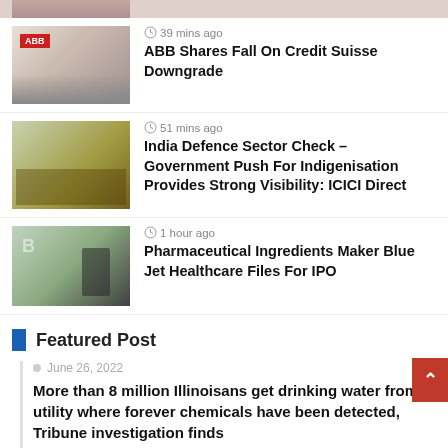[Figure (photo): Partial image at top of page — cropped photo of a person]
39 mins ago
ABB Shares Fall On Credit Suisse Downgrade
[Figure (photo): Photo of an ABB building with red branding]
51 mins ago
India Defence Sector Check – Government Push For Indigenisation Provides Strong Visibility: ICICI Direct
[Figure (photo): Photo of military/defence equipment]
1 hour ago
Pharmaceutical Ingredients Maker Blue Jet Healthcare Files For IPO
[Figure (photo): Photo of Blue Jet Healthcare signage with person silhouette]
Featured Post
June 26, 2022
More than 8 million Illinoisans get drinking water from a utility where forever chemicals have been detected, Tribune investigation finds
September 10, 2021